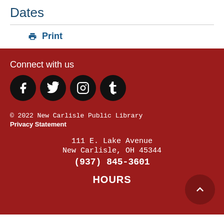Dates
🖨 Print
Connect with us
[Figure (other): Four social media icons: Facebook, Twitter, Instagram, Tumblr — white icons on black circles]
© 2022 New Carlisle Public Library
Privacy Statement
111 E. Lake Avenue
New Carlisle, OH 45344
(937) 845-3601
HOURS